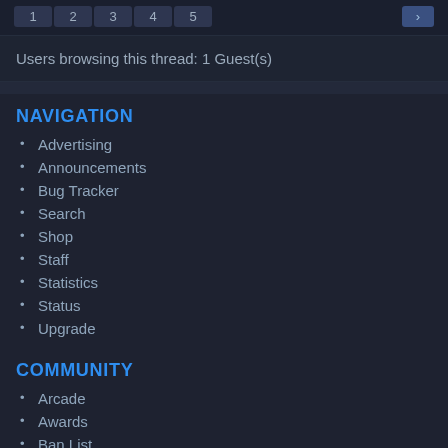1 2 3 4 5
Users browsing this thread: 1 Guest(s)
NAVIGATION
Advertising
Announcements
Bug Tracker
Search
Shop
Staff
Statistics
Status
Upgrade
COMMUNITY
Arcade
Awards
Ban List
Credits
Discord